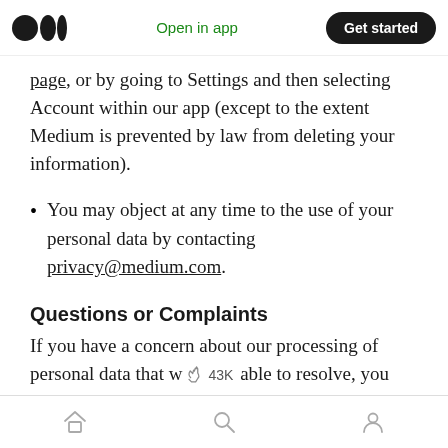Open in app | Get started
page, or by going to Settings and then selecting Account within our app (except to the extent Medium is prevented by law from deleting your information).
You may object at any time to the use of your personal data by contacting privacy@medium.com.
Questions or Complaints
If you have a concern about our processing of personal data that w [clap icon] 43K able to resolve, you have the right to lodge a complaint with the Data